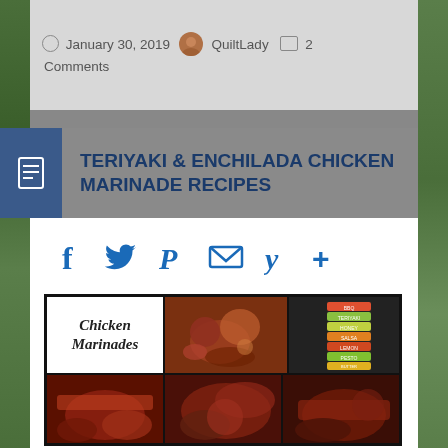January 30, 2019  QuiltLady  2 Comments
TERIYAKI & ENCHILADA CHICKEN MARINADE RECIPES
[Figure (infographic): Social media sharing icons: Facebook (f), Twitter (bird), Pinterest (P), Email (envelope), Yummly (Y), More (+)]
[Figure (photo): Collage image showing 'Chicken Marinades' text with multiple photos of marinated chicken dishes and a spice strip image]